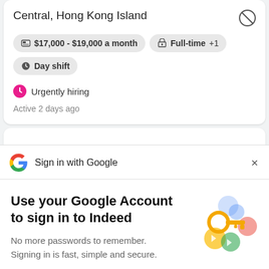Central, Hong Kong Island
$17,000 - $19,000 a month
Full-time +1
Day shift
Urgently hiring
Active 2 days ago
Sign in with Google
Use your Google Account to sign in to Indeed
No more passwords to remember. Signing in is fast, simple and secure.
[Figure (illustration): Colorful key illustration with Google-colored circles]
Continue